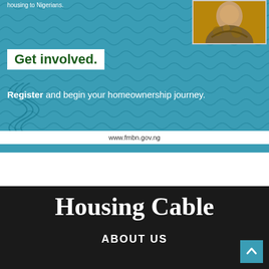[Figure (infographic): Blue banner advertisement for FMBN (Federal Mortgage Bank of Nigeria) with teal/blue background featuring wavy pattern overlay, a portrait photo top right, and text about housing and homeownership.]
housing to Nigerians.
Get involved.
Register and begin your homeownership journey.
www.fmbn.gov.ng
Housing Cable
ABOUT US